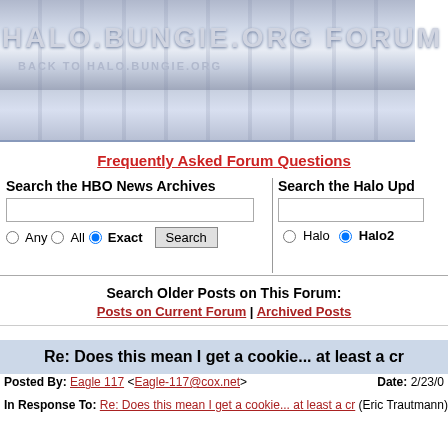[Figure (screenshot): Halo.Bungie.Org Forum header banner with blue-grey gradient background and circular decorative elements]
HALO.BUNGIE.ORG FORUM
BACK TO HALO.BUNGIE.ORG
Frequently Asked Forum Questions
Search the HBO News Archives
Any  All  Exact  Search
Search the Halo Upd...
Halo  Halo2
Search Older Posts on This Forum:
Posts on Current Forum | Archived Posts
Re: Does this mean I get a cookie... at least a cr
Posted By: Eagle 117 <Eagle-117@cox.net>   Date: 2/23/05
In Response To: Re: Does this mean I get a cookie... at least a cr (Eric Trautmann)